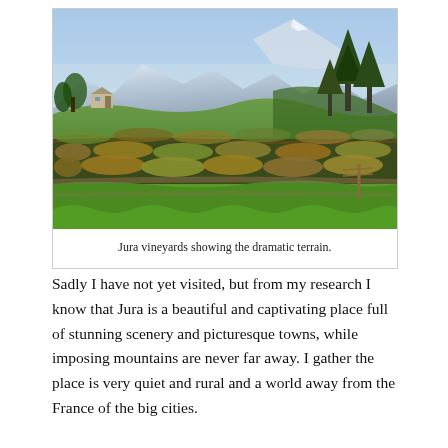[Figure (photo): Photograph of Jura vineyards with rows of grapevines in autumn color, rolling green hillside behind, tall trees to the right, mountains in the misty background, blue sky above.]
Jura vineyards showing the dramatic terrain.
Sadly I have not yet visited, but from my research I know that Jura is a beautiful and captivating place full of stunning scenery and picturesque towns, while imposing mountains are never far away. I gather the place is very quiet and rural and a world away from the France of the big cities.